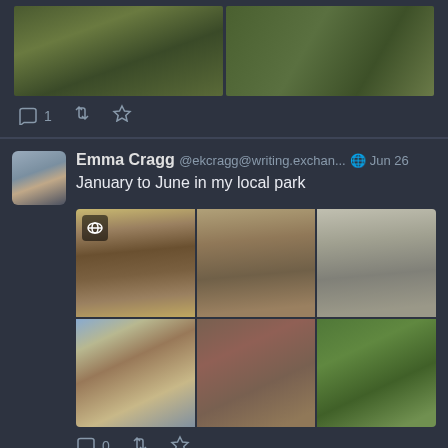[Figure (screenshot): Top partial tweet showing two nature/tree canopy photos, with action bar showing reply (1), retweet, and favorite icons]
1
[Figure (photo): Tweet by Emma Cragg @ekcragg@writing.exchan... Jun 26 showing 6 park path photos (3x2 grid) labeled January to June in my local park]
Emma Cragg @ekcragg@writing.exchan... Jun 26
January to June in my local park
0
Emma Cragg @ekcragg@writing.exchan... Jun 19